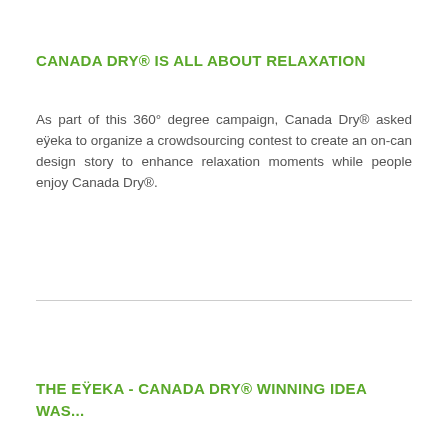CANADA DRY® IS ALL ABOUT RELAXATION
As part of this 360° degree campaign, Canada Dry® asked eÿeka to organize a crowdsourcing contest to create an on-can design story to enhance relaxation moments while people enjoy Canada Dry®.
THE EŸEKA - CANADA DRY® WINNING IDEA WAS...